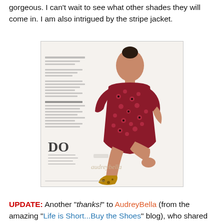gorgeous. I can't wait to see what other shades they will come in. I am also intrigued by the stripe jacket.
[Figure (photo): Magazine editorial photo of a woman wearing a red and black floral print short-sleeve dress, sitting on a white surface, wearing leopard print shoes. Text overlay reads 'DO' and 'audreybella'.]
UPDATE: Another "thanks!" to AudreyBella (from the amazing "Life is Short...Buy the Shoes" blog), who shared